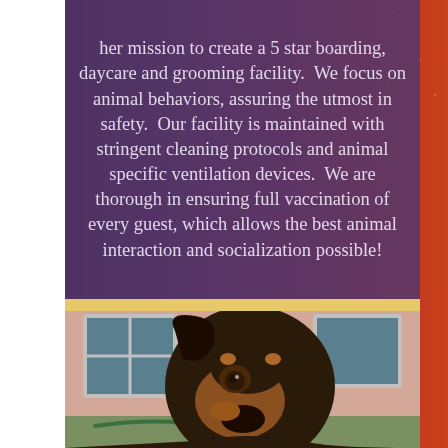her mission to create a 5 star boarding, daycare and grooming facility.  We focus on animal behaviors, assuring the utmost in safety.  Our facility is maintained with stringent cleaning protocols and animal specific ventilation devices.  We are thorough in ensuring full vaccination of every guest, which allows the best animal interaction and socialization possible!
[Figure (photo): Close-up photo of a Doberman Pinscher dog looking at camera, with a window and building wall in the background, green turf visible on the ground.]